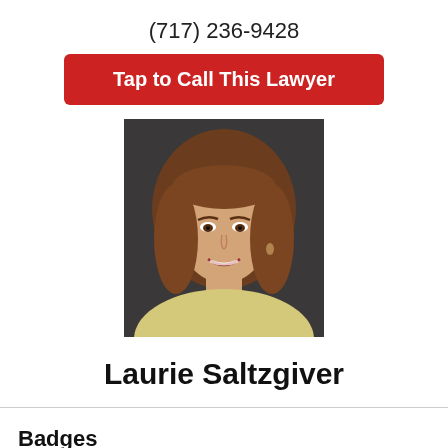(717) 236-9428
Tap to Call This Lawyer
[Figure (photo): Professional headshot of Laurie Saltzgiver, a woman with shoulder-length auburn/brown hair and bangs, smiling, wearing a light yellow jacket, against a dark background.]
Laurie Saltzgiver
Badges